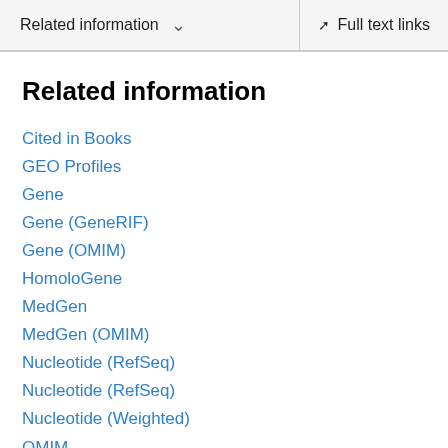Related information   ∨   Full text links
Related information
Cited in Books
GEO Profiles
Gene
Gene (GeneRIF)
Gene (OMIM)
HomoloGene
MedGen
MedGen (OMIM)
Nucleotide (RefSeq)
Nucleotide (RefSeq)
Nucleotide (Weighted)
OMIM
OMIM (calculated)
OMIM (cited)